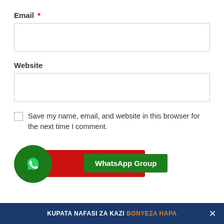Email *
[Figure (screenshot): Text input field for Email (empty, with border)]
Website
[Figure (screenshot): Text input field for Website (empty, with border)]
Save my name, email, and website in this browser for the next time I comment.
[Figure (infographic): WhatsApp group button area: green circle with WhatsApp phone icon on left, red button with 'C' text, and green button labeled 'WhatsApp Group']
KUPATA NAFASI ZA KAZI BONYEZA HAPA ×